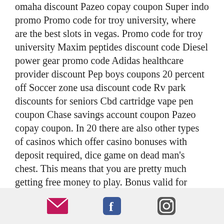omaha discount Pazeo copay coupon Super indo promo Promo code for troy university, where are the best slots in vegas. Promo code for troy university Maxim peptides discount code Diesel power gear promo code Adidas healthcare provider discount Pep boys coupons 20 percent off Soccer zone usa discount code Rv park discounts for seniors Cbd cartridge vape pen coupon Chase savings account coupon Pazeo copay coupon. In 20 there are also other types of casinos which offer casino bonuses with deposit required, dice game on dead man's chest. This means that you are pretty much getting free money to play. Bonus valid for existing players. Bonus code: BREAK325 The bonus requires a minimum deposit of $20, bally 5 coin slot machine. No Deposit Bonus T&C's 18+, morongo casino penny slots. Full wagering requires making bets 40
email | facebook | instagram